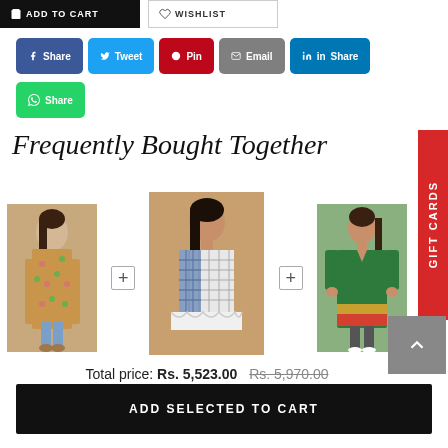[Figure (screenshot): E-commerce product page section showing social share buttons (Facebook Share, Tweet, Pin, Email, LinkedIn Share, WhatsApp Share), a Frequently Bought Together section with 3 kurti/dress product images, total price Rs. 5,523.00 (original Rs. 5,970.00), and an ADD SELECTED TO CART button. A red GIFT CARDS vertical tab is on the right side.]
Total price: Rs. 5,523.00  Rs. 5,970.00
ADD SELECTED TO CART